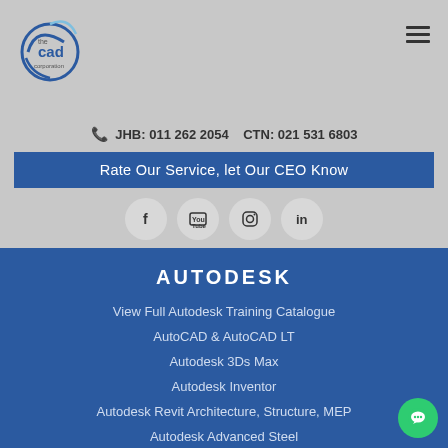[Figure (logo): The CAD Corporation logo — circular swoosh mark with 'the cad corporation' text]
JHB: 011 262 2054    CTN: 021 531 6803
Rate Our Service, let Our CEO Know
[Figure (infographic): Four social media icon circles: Facebook, YouTube, Instagram, LinkedIn]
AUTODESK
View Full Autodesk Training Catalogue
AutoCAD & AutoCAD LT
Autodesk 3Ds Max
Autodesk Inventor
Autodesk Revit Architecture, Structure, MEP
Autodesk Advanced Steel
AutoCAD Plant 3D & P&ID